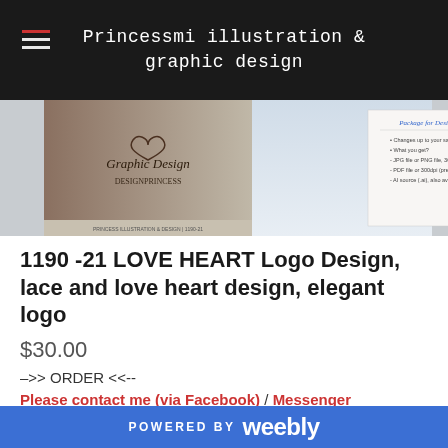Princessmi illustration & graphic design
[Figure (photo): Banner image showing graphic design samples including logo designs with heart and floral motifs, and a price list document]
1190 -21 LOVE HEART Logo Design, lace and love heart design, elegant logo
$30.00
–>> ORDER <<--
Please contact me (via Facebook) / Messenger
> Order this design, give me design no. 1190-21
> Give me your PayPal email
> I will send paypal invoice to you, after confirm your
POWERED BY weebly